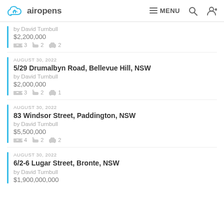airopens | MENU
by David Turnbull
$2,200,000
3 beds 2 baths 2 cars
AUGUST 30, 2022
5/29 Drumalbyn Road, Bellevue Hill, NSW
by David Turnbull
$2,000,000
3 beds 2 baths 1 car
AUGUST 30, 2022
83 Windsor Street, Paddington, NSW
by David Turnbull
$5,500,000
4 beds 2 baths 2 cars
AUGUST 30, 2022
6/2-6 Lugar Street, Bronte, NSW
by David Turnbull
$1,900,000,000